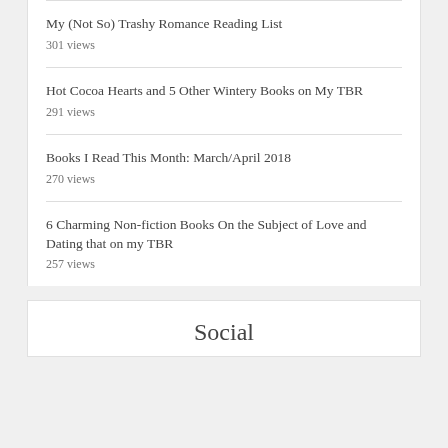My (Not So) Trashy Romance Reading List
301 views
Hot Cocoa Hearts and 5 Other Wintery Books on My TBR
291 views
Books I Read This Month: March/April 2018
270 views
6 Charming Non-fiction Books On the Subject of Love and Dating that on my TBR
257 views
Social